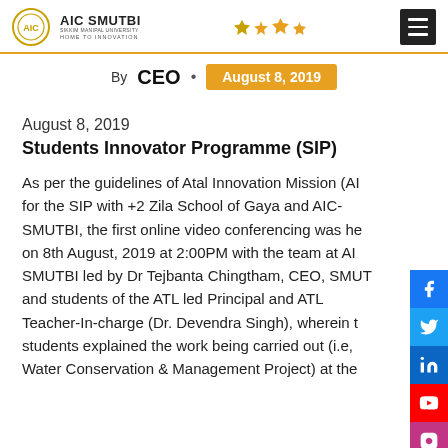AIC SMUTBI - HOME TO INNOVATION
By CEO • August 8, 2019
August 8, 2019
Students Innovator Programme (SIP)
As per the guidelines of Atal Innovation Mission (AIM) for the SIP with +2 Zila School of Gaya and AIC-SMUTBI, the first online video conferencing was held on 8th August, 2019 at 2:00PM with the team at AIC-SMUTBI led by Dr Tejbanta Chingtham, CEO, SMUTBI and students of the ATL led Principal and ATL Teacher-In-charge (Dr. Devendra Singh), wherein the students explained the work being carried out (i.e, Water Conservation & Management Project) at the